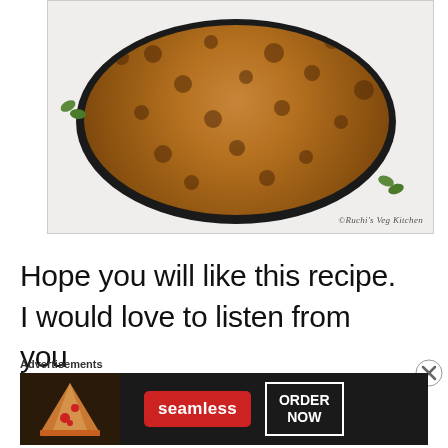[Figure (photo): Top-down view of golden-brown Indian flatbread (possibly matar paratha or stuffed paratha) arranged in a round black skillet/plate on a marble surface, garnished with cilantro leaves. Watermark reads '©Ruchi's Veg Kitchen'.]
Hope you will like this recipe. I would love to listen from you
Advertisements
[Figure (screenshot): Advertisement banner for Seamless food delivery service. Shows pizza image on left, red 'seamless' logo button in center, and 'ORDER NOW' button in white border on right. Dark background.]